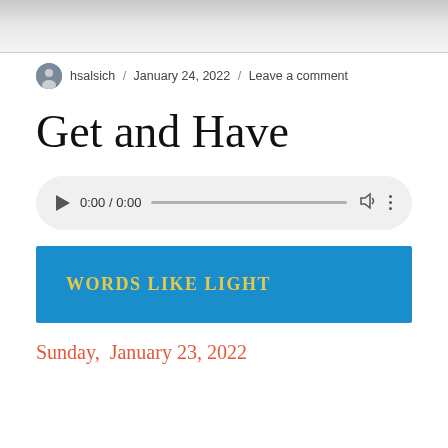[Figure (photo): Faded grey/beige header image at top of blog page]
hsalsich / January 24, 2022 / Leave a comment
Get and Have
[Figure (screenshot): Audio player widget showing 0:00 / 0:00 with play button, progress bar, volume and options icons]
WORDS LIKE LIGHT
Sunday,  January 23, 2022